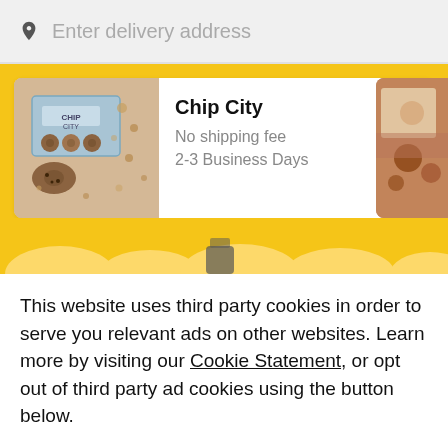Enter delivery address
[Figure (screenshot): Chip City store card showing cookie box photo, store name, no shipping fee, 2-3 Business Days]
This website uses third party cookies in order to serve you relevant ads on other websites. Learn more by visiting our Cookie Statement, or opt out of third party ad cookies using the button below.
Opt out
Got it